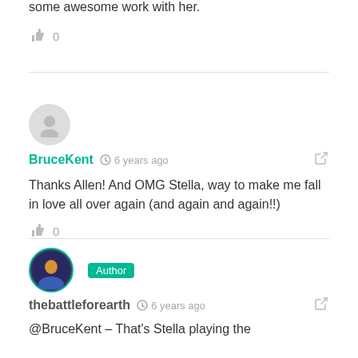some awesome work with her.
👍 0
BruceKent  🕐 6 years ago
Thanks Allen! And OMG Stella, way to make me fall in love all over again (and again and again!!)
👍 0
thebattleforearth  🕐 6 years ago
@BruceKent – That's Stella playing the